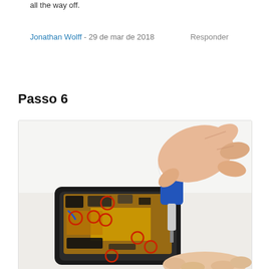all the way off.
Jonathan Wolff - 29 de mar de 2018    Responder
Passo 6
[Figure (photo): A hand using a blue and white screwdriver on a disassembled smartphone motherboard. Multiple screws are highlighted with red circles indicating their locations on the circuit board. Another hand steadies the phone from below.]